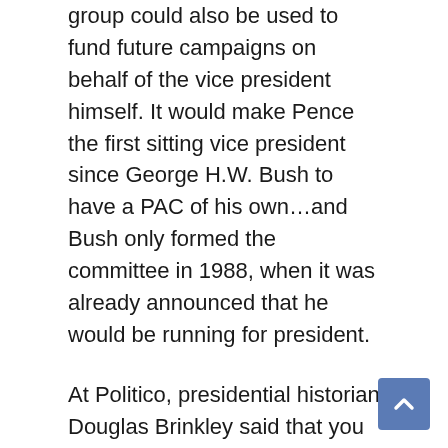group could also be used to fund future campaigns on behalf of the vice president himself. It would make Pence the first sitting vice president since George H.W. Bush to have a PAC of his own…and Bush only formed the committee in 1988, when it was already announced that he would be running for president.
At Politico, presidential historian Douglas Brinkley said that you could easily draw parallels between Pence and Gerald Ford, who took over for President Nixon after the Watergate scandal forced him to resign.
“It’s almost an eerie comparison that a more mild-mannered, religious conservative Republican like Gerald Ford came in,” Brinkley told the site. “He’s much like Pence in temperament and personality. He doesn’t have that acerbic side that Nixon and Trump